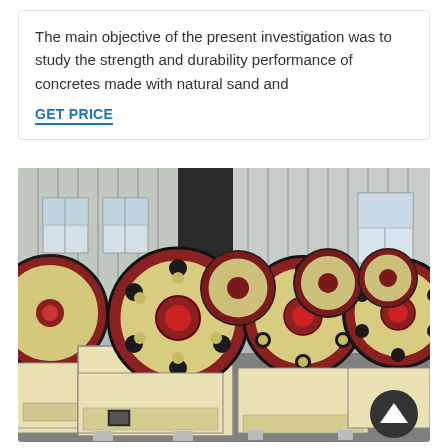The main objective of the present investigation was to study the strength and durability performance of concretes made with natural sand and
GET PRICE
[Figure (photo): Industrial warehouse floor with multiple large yellow and black jaw crusher machines lined up in rows, featuring prominent circular flywheels with red centers and bolt patterns, set against a corrugated metal wall with windows.]